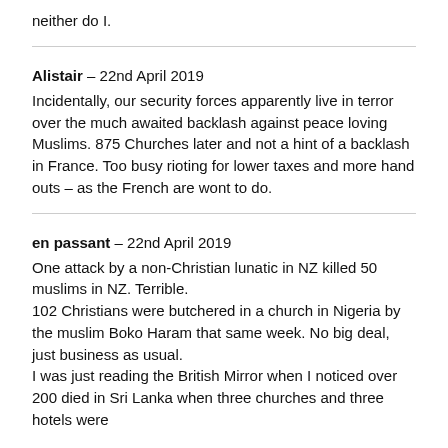neither do I.
Alistair – 22nd April 2019
Incidentally, our security forces apparently live in terror over the much awaited backlash against peace loving Muslims. 875 Churches later and not a hint of a backlash in France. Too busy rioting for lower taxes and more hand outs – as the French are wont to do.
en passant – 22nd April 2019
One attack by a non-Christian lunatic in NZ killed 50 muslims in NZ. Terrible.
102 Christians were butchered in a church in Nigeria by the muslim Boko Haram that same week. No big deal, just business as usual.
I was just reading the British Mirror when I noticed over 200 died in Sri Lanka when three churches and three hotels were